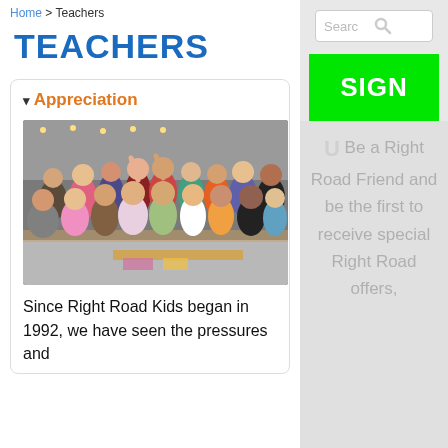Home > Teachers
TEACHERS
Appreciation
[Figure (photo): Group photo of teachers celebrating in a classroom, raising hands and smiling]
Since Right Road Kids began in 1992, we have seen the pressures and
U Be a Right Road Friend and be the first to receive special Right Road offers,